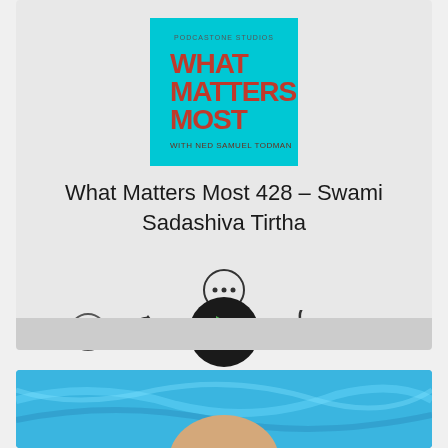[Figure (screenshot): Podcast player card for 'What Matters Most 428 – Swami Sadashiva Tirtha' showing album artwork, episode title, more options button, and playback controls (speed 1x, rewind 15, play, forward 60, volume)]
What Matters Most 428 – Swami Sadashiva Tirtha
[Figure (photo): Partial photo of a person against a blue background, cropped at bottom of page]